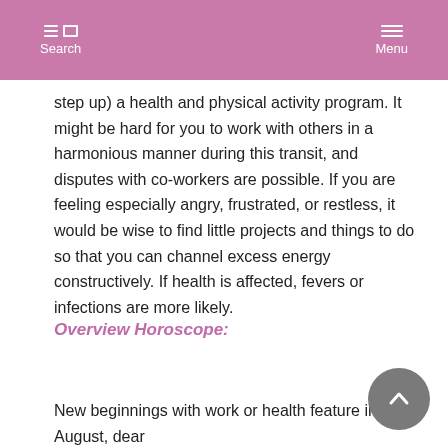Search   Menu
step up) a health and physical activity program. It might be hard for you to work with others in a harmonious manner during this transit, and disputes with co-workers are possible. If you are feeling especially angry, frustrated, or restless, it would be wise to find little projects and things to do so that you can channel excess energy constructively. If health is affected, fevers or infections are more likely.
Overview Horoscope:
New beginnings with work or health feature in August, dear